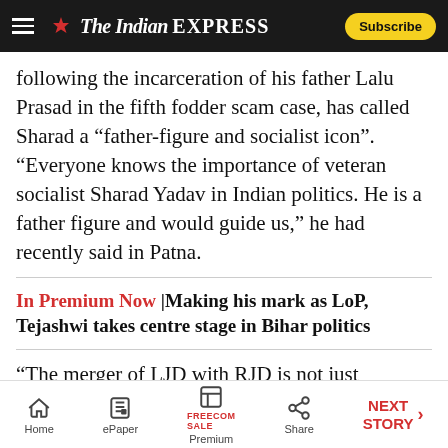The Indian EXPRESS | Subscribe
following the incarceration of his father Lalu Prasad in the fifth fodder scam case, has called Sharad a “father-figure and socialist icon”. “Everyone knows the importance of veteran socialist Sharad Yadav in Indian politics. He is a father figure and would guide us,” he had recently said in Patna.
In Premium Now |Making his mark as LoP, Tejashwi takes centre stage in Bihar politics
“The merger of LJD with RJD is not just symbolic,” said RJD national spokesperson Subodh Mehta.
Home | ePaper | Premium | Share | NEXT STORY